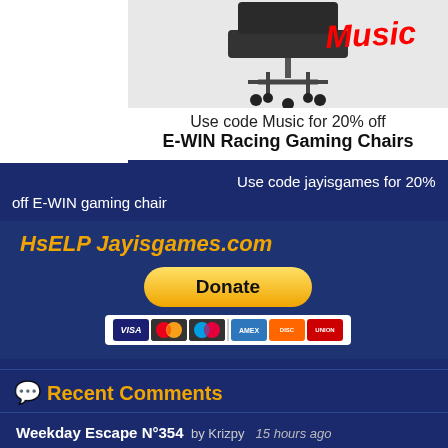[Figure (screenshot): E-WIN Racing Gaming Chair advertisement with chair photo and 'Music' text in red italic, white background]
Use code Music for 20% off
E-WIN Racing Gaming Chairs
Use code jayisgames for 20% off E-WIN gaming chair
HsELP Jayisgames.com
[Figure (other): PayPal Donate button with payment card icons (Visa, Mastercard, Amex, Discover, etc.)]
Recent Comments
Weekday Escape N°354  by Krizpy  15 hours ago
Weekday Escape N°354  by jF  23 hours ago
Weekday Escape N°354  by Krizpy  24 hours ago
Weekday Escape N°354  by kksl1der20  2 days ago